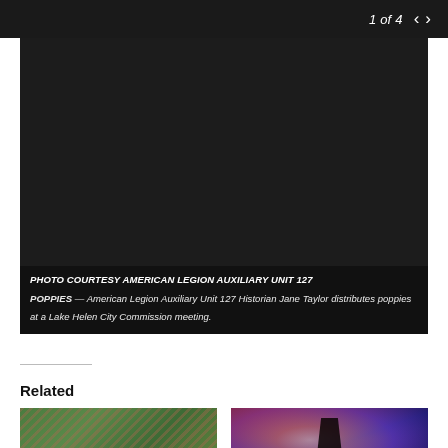1 of 4
[Figure (photo): Dark/black photograph — image content not visible. Shows a nearly black frame representing a photo slideshow viewer with navigation arrows (1 of 4).]
PHOTO COURTESY AMERICAN LEGION AUXILIARY UNIT 127 POPPIES — American Legion Auxiliary Unit 127 Historian Jane Taylor distributes poppies at a Lake Helen City Commission meeting.
Related
[Figure (photo): Thumbnail image showing a field of small American flags on green grass, viewed at an angle.]
[Figure (photo): Thumbnail image showing a silhouette of a person saluting in front of an American flag backdrop with dramatic lighting.]